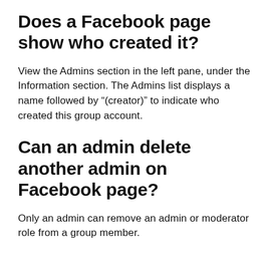Does a Facebook page show who created it?
View the Admins section in the left pane, under the Information section. The Admins list displays a name followed by “(creator)” to indicate who created this group account.
Can an admin delete another admin on Facebook page?
Only an admin can remove an admin or moderator role from a group member.